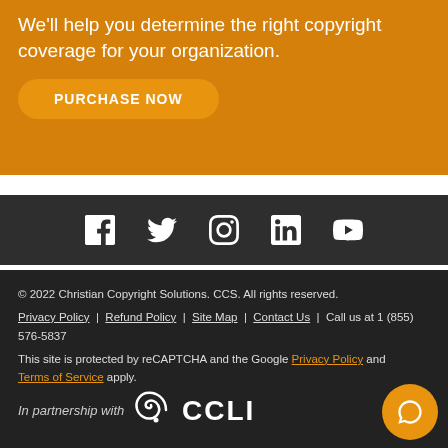We'll help you determine the right copyright coverage for your organization.
PURCHASE NOW
[Figure (infographic): Social media icons row: Facebook, Twitter, Instagram, LinkedIn, YouTube on dark background]
© 2022 Christian Copyright Solutions. CCS. All rights reserved.
Privacy Policy | Refund Policy | Site Map | Contact Us | Call us at 1 (855) 576-5837
This site is protected by reCAPTCHA and the Google Privacy Policy and Terms of Service apply.
[Figure (logo): In partnership with CCLI logo on dark background]
[Figure (other): Orange circular chat button with speech bubble icon]